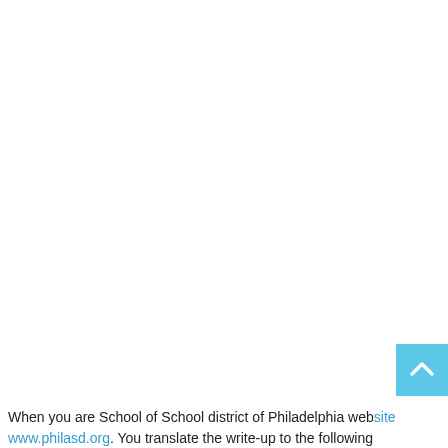[Figure (other): Scroll-to-top button: a light blue square button with a white upward-pointing chevron arrow icon, positioned at the bottom-right corner of the page.]
When you are School of School district of Philadelphia website www.philasd.org. You translate the write-up to the following